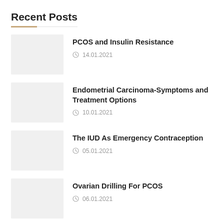Recent Posts
PCOS and Insulin Resistance — 14.01.2021
Endometrial Carcinoma-Symptoms and Treatment Options — 10.01.2021
The IUD As Emergency Contraception — 05.01.2021
Ovarian Drilling For PCOS — 06.01.2021
Tough IUI Decisions